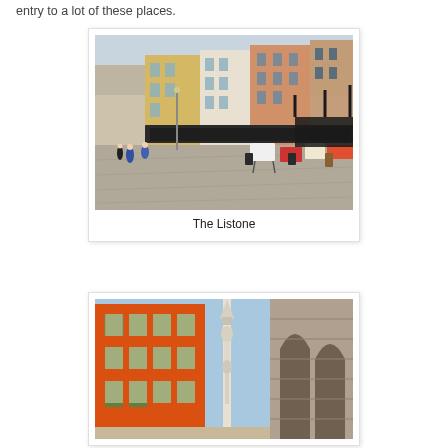entry to a lot of these places.
[Figure (photo): Street-level view of The Listone in Verona, Italy, showing colorful historic buildings in yellow, orange, pink and white, with outdoor restaurant tables and chairs in the foreground and pedestrians walking on the stone-paved piazza under overcast skies]
The Listone
[Figure (photo): Low-angle view of Piazza Bra in Verona, Italy, looking up at a vivid orange building with green shutters, a Gothic marble monument/sculpture in the center, and the stone arches of the Arena di Verona visible on the right, under a blue sky]